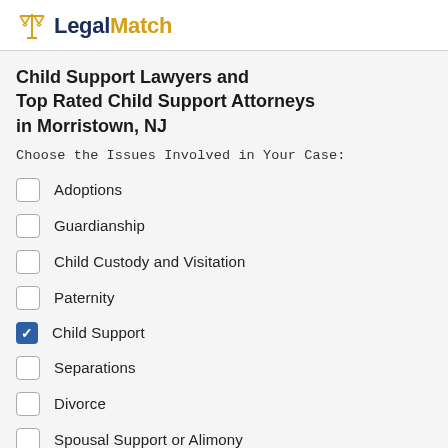LegalMatch
Child Support Lawyers and Top Rated Child Support Attorneys in Morristown, NJ
Choose the Issues Involved in Your Case:
Adoptions
Guardianship
Child Custody and Visitation
Paternity
Child Support (checked)
Separations
Divorce
Spousal Support or Alimony